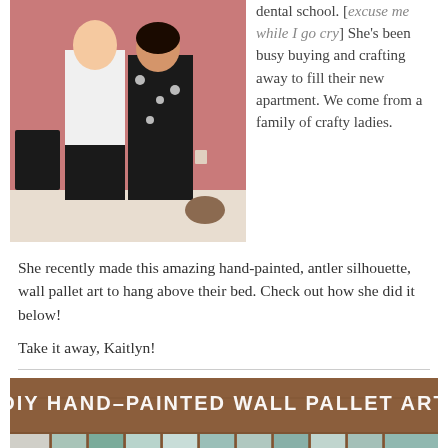[Figure (photo): A man in a white shirt and a woman in a black floral dress standing in a room with a pink wall]
dental school. [excuse me while I go cry] She’s been busy buying and crafting away to fill their new apartment. We come from a family of crafty ladies.
She recently made this amazing hand-painted, antler silhouette, wall pallet art to hang above their bed. Check out how she did it below!
Take it away, Kaitlyn!
[Figure (photo): DIY Hand-Painted Wall Pallet Art banner image showing wooden pallet planks with painted color swatches in white, teal, and blue tones]